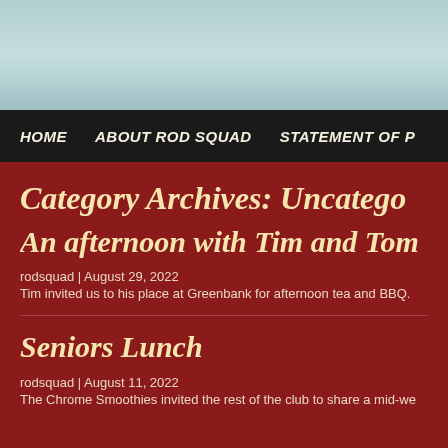[Figure (photo): Header image with light blue-green textured background]
HOME   ABOUT ROD SQUAD   STATEMENT OF P
Category Archives: Uncatego
An afternoon with Tim and Tom
rodsquad | August 29, 2022
Tim invited us to his place at Greenbank for afternoon tea and BBQ.
Seniors Lunch
rodsquad | August 11, 2022
The Chrome Smoothies invited the rest of the club to share a mid-we